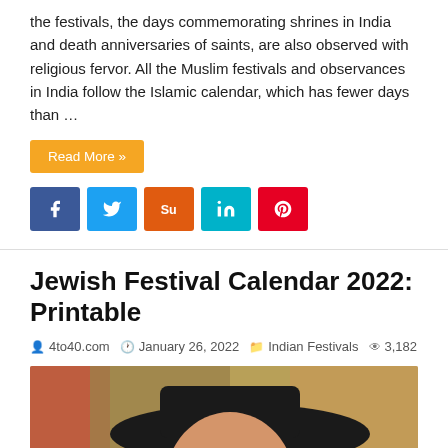the festivals, the days commemorating shrines in India and death anniversaries of saints, are also observed with religious fervor. All the Muslim festivals and observances in India follow the Islamic calendar, which has fewer days than …
Read More »
[Figure (other): Social share buttons: Facebook, Twitter, StumbleUpon, LinkedIn, Pinterest]
Jewish Festival Calendar 2022: Printable
4to40.com   January 26, 2022   Indian Festivals   3,182
[Figure (photo): Photo of a bearded Jewish man wearing glasses and a black wide-brim hat, smiling, with colorful blurred background]